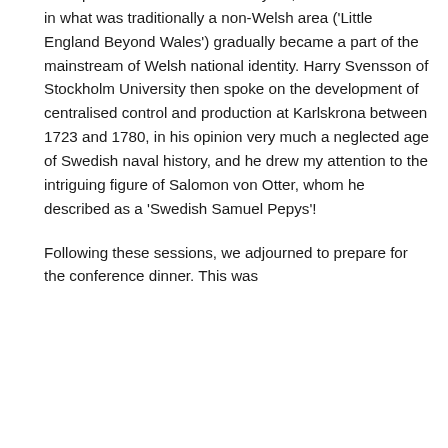attempted to show how the dockyard, an alien institution in what was traditionally a non-Welsh area ('Little England Beyond Wales') gradually became a part of the mainstream of Welsh national identity. Harry Svensson of Stockholm University then spoke on the development of centralised control and production at Karlskrona between 1723 and 1780, in his opinion very much a neglected age of Swedish naval history, and he drew my attention to the intriguing figure of Salomon von Otter, whom he described as a 'Swedish Samuel Pepys'!
Following these sessions, we adjourned to prepare for the conference dinner. This was